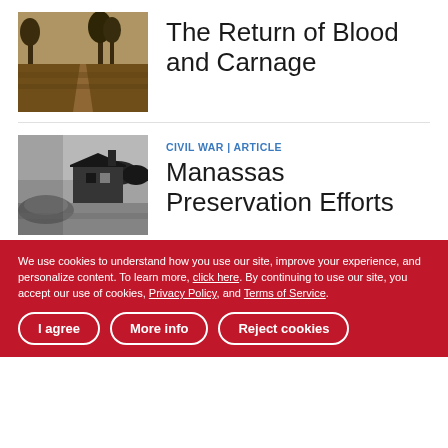[Figure (photo): Sepia-toned photo of a dirt road through fields with trees in the background]
The Return of Blood and Carnage
[Figure (photo): Black and white photo of a farmhouse or barn with haystacks in a field]
CIVIL WAR | ARTICLE
Manassas Preservation Efforts
VIEW ALL RELATED RESOURCES »
RELATED BATTLES
We use cookies to understand how you use our site, improve your experience, and personalize content. To learn more, click here. By continuing to use our site, you accept our use of cookies, Privacy Policy, and Terms of Service.